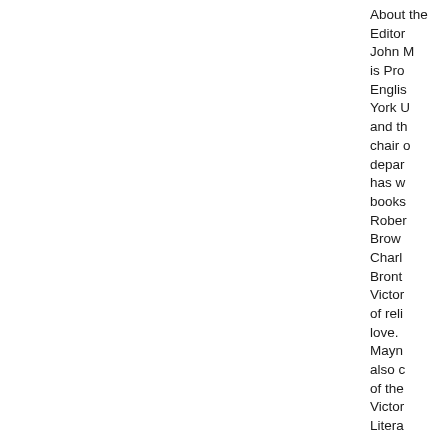About the Editor John ... is Professor of English at York University and the chair of the department, has written books on Robert Browning, Charlotte Brontë, Victorian of religion, love. He Maynard also coauthored of the Victorian Literary ...